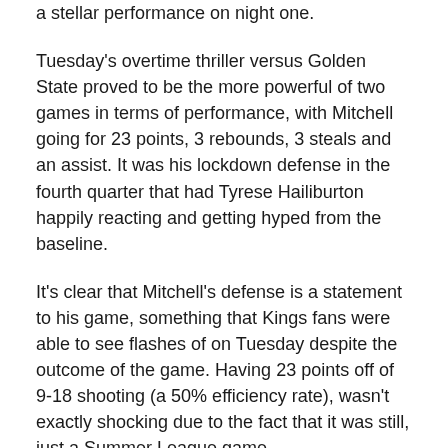a stellar performance on night one.
Tuesday's overtime thriller versus Golden State proved to be the more powerful of two games in terms of performance, with Mitchell going for 23 points, 3 rebounds, 3 steals and an assist. It was his lockdown defense in the fourth quarter that had Tyrese Hailiburton happily reacting and getting hyped from the baseline.
It's clear that Mitchell's defense is a statement to his game, something that Kings fans were able to see flashes of on Tuesday despite the outcome of the game. Having 23 points off of 9-18 shooting (a 50% efficiency rate), wasn't exactly shocking due to the fact that it was still, just a Summer League game.